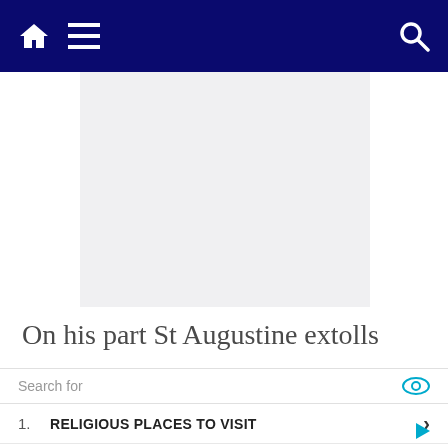Navigation bar with home, menu, and search icons
[Figure (other): Large placeholder/blank image area with light gray background]
On his part St Augustine extolls
Irresistibly outstanding points. Let his...
Search for
1. RELIGIOUS PLACES TO VISIT
2. PLACES TO VISIT IN WASHINGTON